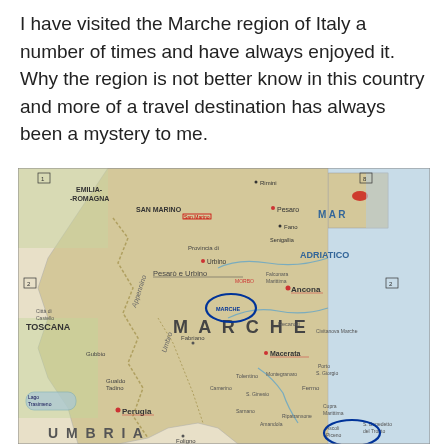I have visited the Marche region of Italy a number of times and have always enjoyed it. Why the region is not better know in this country and more of a travel destination has always been a mystery to me.
[Figure (map): Map of the Marche region of Italy showing surrounding regions including Emilia-Romagna, Toscana, Umbria, and the Adriatico sea. Key cities labeled include Ancona, Pesaro, Urbino, Macerata, Perugia, and others. Two locations are circled in blue/dark oval: one near Jesi/Fabriano area labeled MARCHE, and one near Ascoli Piceno/San Benedetto del Tronto in the south.]